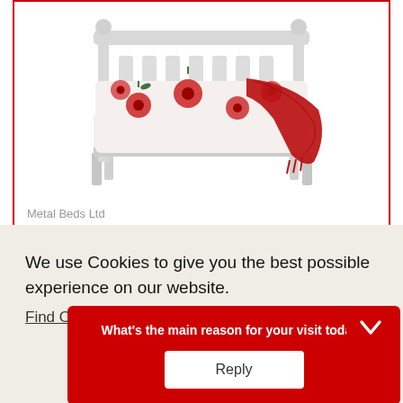[Figure (photo): White wooden single bed frame with red poppy patterned bedding and a red knitted throw, shown on white background]
Metal Beds Ltd
Metal Beds Florence 3ft (90cm) Single White Wooden Bed Frame
We use Cookies to give you the best possible experience on our website.
Find Out More
What's the main reason for your visit today?
Reply